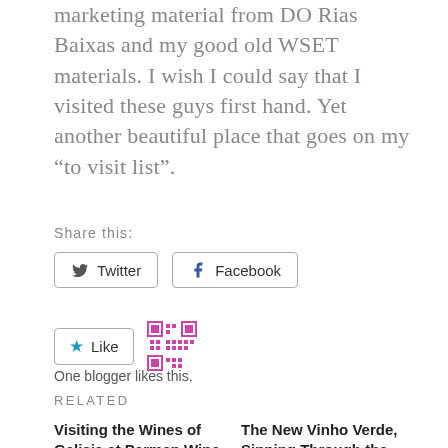marketing material from DO Rias Baixas and my good old WSET materials. I wish I could say that I visited these guys first hand. Yet another beautiful place that goes on my “to visit list”.
Share this:
[Figure (screenshot): Share buttons: Twitter and Facebook]
[Figure (screenshot): Like button with star icon and a QR-code style avatar. Text: One blogger likes this.]
Related
Visiting the Wines of Galicia at Perman Wine
July 22, 2017
The New Vinho Verde, Sipping Through the Region with Somm Bruno Almeda